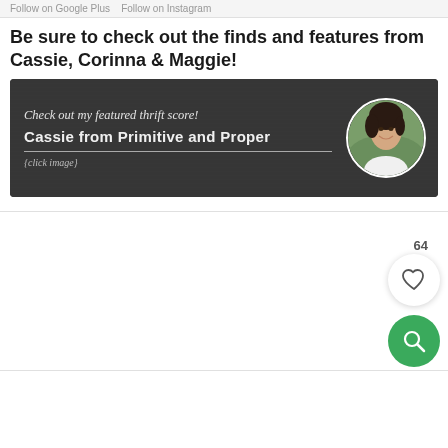Follow on Google Plus  Follow on Instagram
Be sure to check out the finds and features from Cassie, Corinna & Maggie!
[Figure (illustration): Dark chalkboard-style banner with italic script text 'Check out my featured thrift score!' and bold text 'Cassie from Primitive and Proper' with '{click image}' below, and a circular portrait photo of a smiling dark-haired woman on the right side.]
64